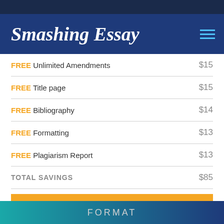Smashing Essay
| Item | Price |
| --- | --- |
| FREE Unlimited Amendments | $15 |
| FREE Title page | $15 |
| FREE Bibliography | $14 |
| FREE Formatting | $13 |
| FREE Plagiarism Report | $13 |
| TOTAL SAVINGS | $85 |
PLACE AN ORDER
FORMAT